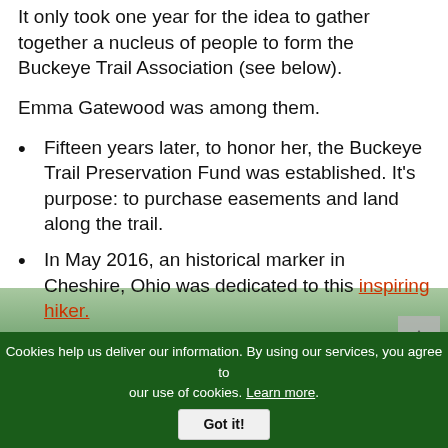It only took one year for the idea to gather together a nucleus of people to form the Buckeye Trail Association (see below).
Emma Gatewood was among them.
Fifteen years later, to honor her, the Buckeye Trail Preservation Fund was established. It's purpose: to purchase easements and land along the trail.
In May 2016, an historical marker in Cheshire, Ohio was dedicated to this inspiring hiker.
Cookies help us deliver our information. By using our services, you agree to our use of cookies. Learn more. Got it!